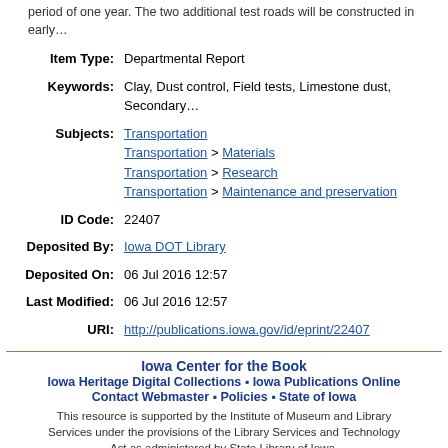period of one year. The two additional test roads will be constructed in early…
| Item Type: | Departmental Report |
| Keywords: | Clay, Dust control, Field tests, Limestone dust, Secondary… |
| Subjects: | Transportation
Transportation > Materials
Transportation > Research
Transportation > Maintenance and preservation |
| ID Code: | 22407 |
| Deposited By: | Iowa DOT Library |
| Deposited On: | 06 Jul 2016 12:57 |
| Last Modified: | 06 Jul 2016 12:57 |
| URI: | http://publications.iowa.gov/id/eprint/22407 |
Iowa Center for the Book
Iowa Heritage Digital Collections ▪ Iowa Publications Online
Contact Webmaster ▪ Policies ▪ State of Iowa
This resource is supported by the Institute of Museum and Library Services under the provisions of the Library Services and Technology Act as administered by State Library of Iowa.
Site Administrator: ipo@iowa.gov